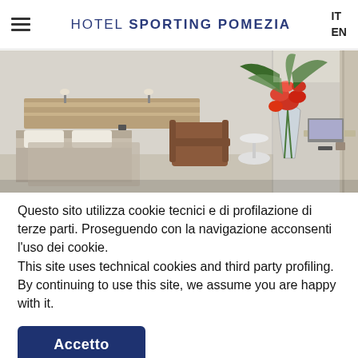HOTEL SPORTING POMEZIA
[Figure (photo): Hotel room interior with two beds with beige/grey bedding, wooden headboard with wall lamp, a brown leather armchair, a small round table, a large vase with red orchids and tropical plants, bright natural light from window.]
Questo sito utilizza cookie tecnici e di profilazione di terze parti. Proseguendo con la navigazione acconsenti l'uso dei cookie.
This site uses technical cookies and third party profiling. By continuing to use this site, we assume you are happy with it.
Accetto